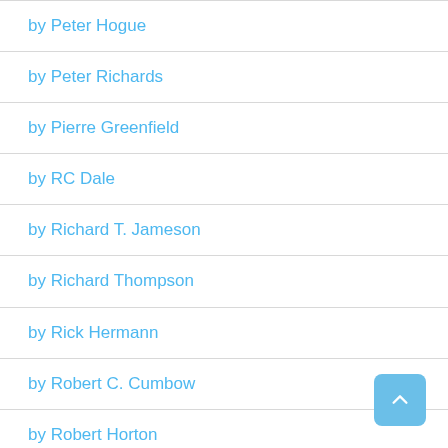by Peter Hogue
by Peter Richards
by Pierre Greenfield
by RC Dale
by Richard T. Jameson
by Richard Thompson
by Rick Hermann
by Robert C. Cumbow
by Robert Horton